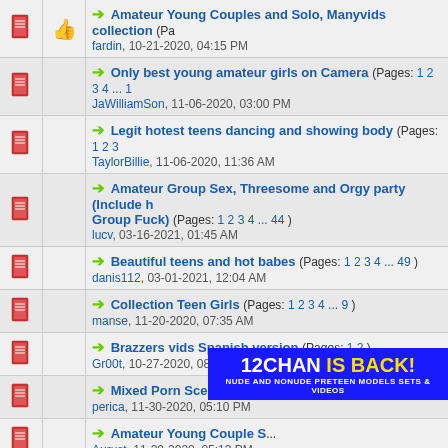Amateur Young Couples and Solo, Manyvids collection (Pa... fardin, 10-21-2020, 04:15 PM
Only best young amateur girls on Camera (Pages: 1 2 3 4 ... 1 JaWilliamSon, 11-06-2020, 03:00 PM
Legit hotest teens dancing and showing body (Pages: 1 2 3 TaylorBillie, 11-06-2020, 11:36 AM
Amateur Group Sex, Threesome and Orgy party (Include h... Group Fuck) (Pages: 1 2 3 4 ... 44) lucv, 03-16-2021, 01:45 AM
Beautiful teens and hot babes (Pages: 1 2 3 4 ... 49) danis112, 03-01-2021, 12:04 AM
Collection Teen Girls (Pages: 1 2 3 4 ... 9) manse, 11-20-2020, 07:35 AM
Brazzers vids Spanish version (Pages: 1 2) Gr00t, 10-27-2020, 08:03 PM
Mixed Porn Scene (Pages: 1 2) perica, 11-30-2020, 05:10 PM
Amateur Young Couple S... 11-29-2020, 05:13 PM Aurust, 11-29-2020, 05:13 PM
[Figure (infographic): 12CHAN IS BACK! advertisement banner - blue background with yellow and white text reading '12CHAN IS BACK! NUDE AND NONUDE PRETEEN MODELS SETS & VIDEOS']